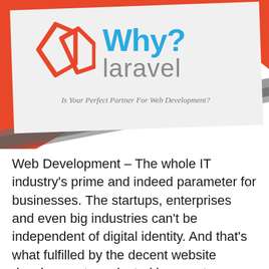[Figure (infographic): Why Laravel infographic banner with Laravel logo (diamond shape in red/orange), 'Why?' in blue bold text, 'laravel' in gray, subtitle 'Is Your Perfect Partner For Web Development?' on a light gray angled background with red corner accents]
Web Development – The whole IT industry's prime and indeed parameter for businesses. The startups, enterprises and even big industries can't be independent of digital identity. And that's what fulfilled by the decent website development conducted by smart frameworks like Laravel and programming